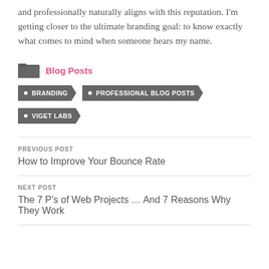and professionally naturally aligns with this reputation. I'm getting closer to the ultimate branding goal: to know exactly what comes to mind when someone hears my name.
Blog Posts
BRANDING
PROFESSIONAL BLOG POSTS
VIGET LABS
PREVIOUS POST
How to Improve Your Bounce Rate
NEXT POST
The 7 P's of Web Projects … And 7 Reasons Why They Work